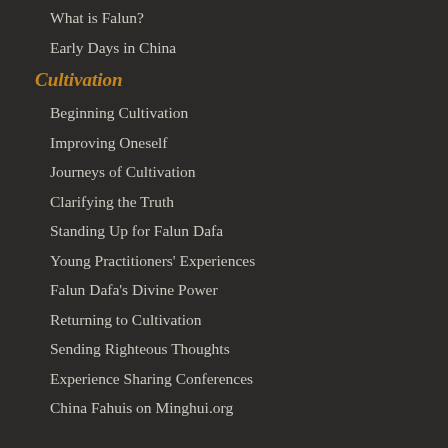What is Falun?
Early Days in China
Cultivation
Beginning Cultivation
Improving Oneself
Journeys of Cultivation
Clarifying the Truth
Standing Up for Falun Dafa
Young Practitioners' Experiences
Falun Dafa's Divine Power
Returning to Cultivation
Sending Righteous Thoughts
Experience Sharing Conferences
China Fahuis on Minghui.org